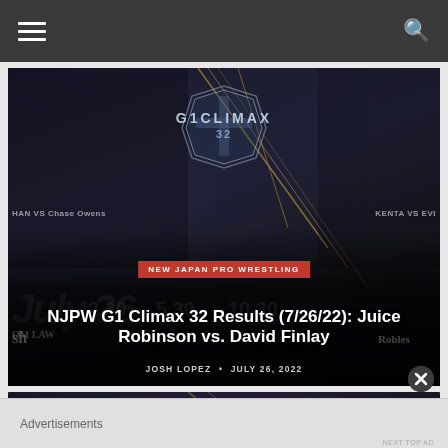Navigation bar with hamburger menu and search icon
[Figure (photo): NJPW G1 Climax 32 promotional image featuring wrestlers including Chase Owens, KENTA, EVI, and others on a dark starfield background with gold diagonal lines and the G1 CLIMAX 32 logo]
NEW JAPAN PRO WRESTLING
NJPW G1 Climax 32 Results (7/26/22): Juice Robinson vs. David Finlay
JOSH LOPEZ • JULY 26, 2022
[Figure (photo): Partial view of a second wrestling article card]
Advertisements
NEXT TOP AD